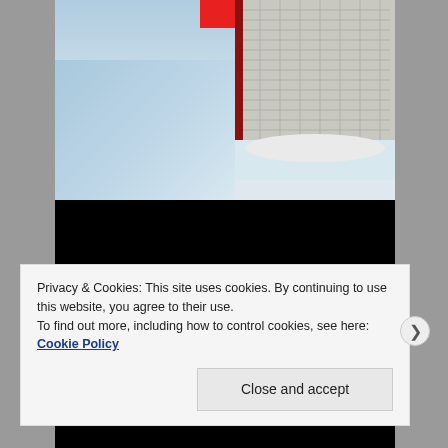[Figure (photo): Hockey goal net and ice rink photo, partially visible with red element at top and dark bar below]
It will be interesting to see Torts keeps Hamhuis paired with Bieksa as one of the top defensive pairs. Going into the new season as with most players on the roster, the main key will be to remain healthy for the majority of the 82 game schedule and always maintain consistency.
Best of luck this season Hammer! #hamhuis
Privacy & Cookies: This site uses cookies. By continuing to use this website, you agree to their use.
To find out more, including how to control cookies, see here: Cookie Policy